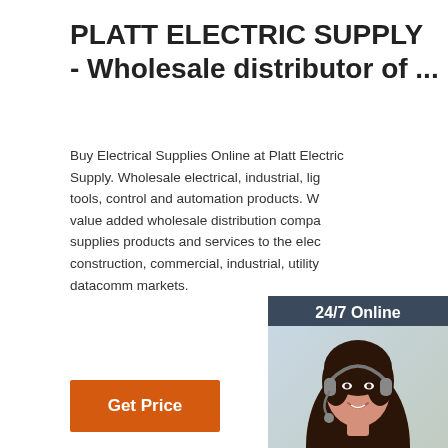PLATT ELECTRIC SUPPLY - Wholesale distributor of ...
Buy Electrical Supplies Online at Platt Electric Supply. Wholesale electrical, industrial, lighting, tools, control and automation products. We are a value added wholesale distribution company that supplies products and services to the electrical, construction, commercial, industrial, utility and datacomm markets.
[Figure (photo): Customer service representative woman wearing headset with '24/7 Online' header, 'Click here for free chat!' text, and an orange QUOTATION button — a chat/support widget panel]
Get Price